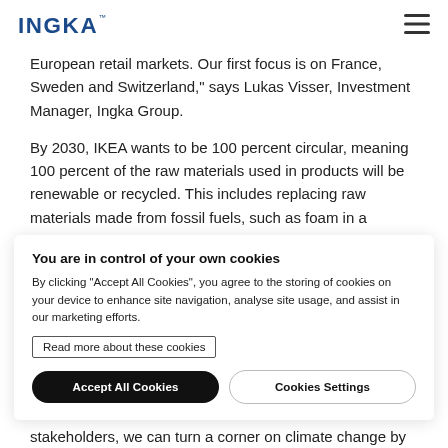INGKA
European retail markets. Our first focus is on France, Sweden and Switzerland," says Lukas Visser, Investment Manager, Ingka Group.
By 2030, IKEA wants to be 100 percent circular, meaning 100 percent of the raw materials used in products will be renewable or recycled. This includes replacing raw materials made from fossil fuels, such as foam in a
You are in control of your own cookies
By clicking "Accept All Cookies", you agree to the storing of cookies on your device to enhance site navigation, analyse site usage, and assist in our marketing efforts.
Read more about these cookies
Accept All Cookies
Cookies Settings
stakeholders, we can turn a corner on climate change by